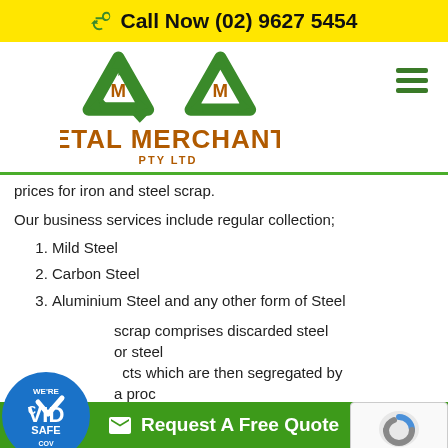Call Now (02) 9627 5454
[Figure (logo): Metal Merchants Pty Ltd logo with two green recycling triangle arrows and brown text]
prices for iron and steel scrap.
Our business services include regular collection;
1. Mild Steel
2. Carbon Steel
3. Aluminium Steel and any other form of Steel
scrap comprises discarded steel or steel products which are then segregated by a process of composition and size or 'grade' suitable for
Request A Free Quote